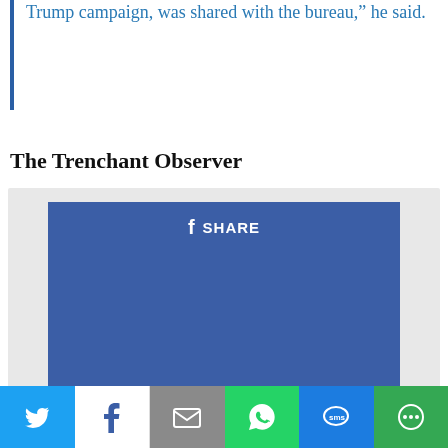Trump campaign, was shared with the bureau," he said.
The Trenchant Observer
[Figure (screenshot): Facebook share embed widget with blue background showing a Share button with Facebook icon]
[Figure (infographic): Social media share bar with Twitter, Facebook, Email, WhatsApp, SMS, and More buttons]